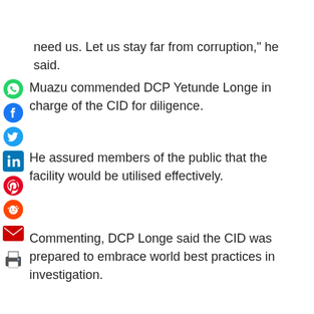need us. Let us stay far from corruption," he said.
Muazu commended DCP Yetunde Longe in charge of the CID for diligence.
He assured members of the public that the facility would be utilised effectively.
Commenting, DCP Longe said the CID was prepared to embrace world best practices in investigation.